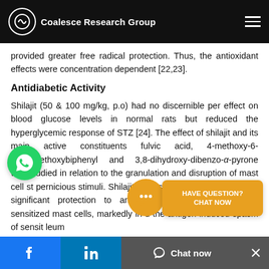Coalesce Research Group
provided greater free radical protection. Thus, the antioxidant effects were concentration dependent [22,23].
Antidiabetic Activity
Shilajit (50 & 100 mg/kg, p.o) had no discernible per effect on blood glucose levels in normal rats but reduced the hyperglycemic response of STZ [24]. The effect of shilajit and its main active constituents fulvic acid, 4-methoxy-6-carbomethoxybiphenyl and 3,8-dihydroxy-dibenzo-α-pyrone was studied in relation to the granulation and disruption of mast cell st pernicious stimuli. Shilajit and its active tituents facilitated significant protection to antigen-induced degranulation of sensitized mast cells, markedly in d the antigen induced spasm of sensit leum
Chat now